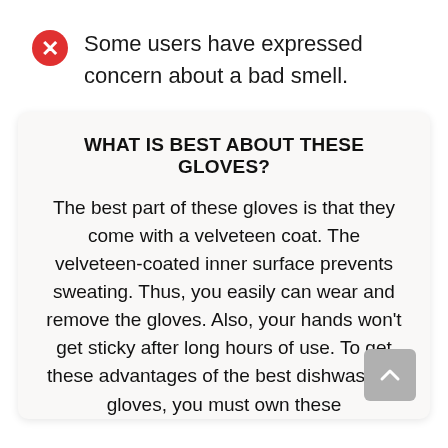Some users have expressed concern about a bad smell.
WHAT IS BEST ABOUT THESE GLOVES?
The best part of these gloves is that they come with a velveteen coat. The velveteen-coated inner surface prevents sweating. Thus, you easily can wear and remove the gloves. Also, your hands won't get sticky after long hours of use. To get these advantages of the best dishwashing gloves, you must own these